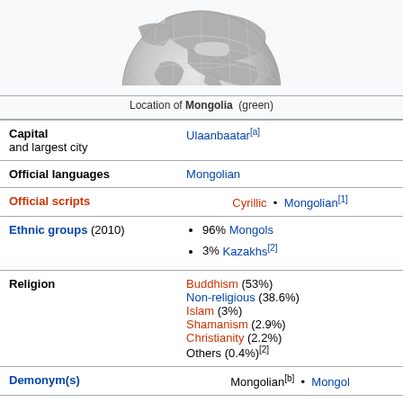[Figure (illustration): Globe showing location of Mongolia highlighted in green, partial view from top]
Location of Mongolia (green)
| Field | Value |
| --- | --- |
| Capital and largest city | Ulaanbaatar[a] |
| Official languages | Mongolian |
| Official scripts | Cyrillic • Mongolian[1] |
| Ethnic groups (2010) | 96% Mongols
3% Kazakhs[2] |
| Religion | Buddhism (53%)
Non-religious (38.6%)
Islam (3%)
Shamanism (2.9%)
Christianity (2.2%)
Others (0.4%)[2] |
| Demonym(s) | Mongolian[b] • Mongol |
| Government | Unitary semi-presidential |